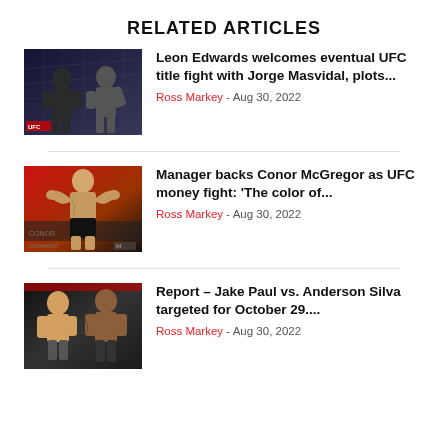RELATED ARTICLES
[Figure (photo): Two UFC fighters facing off inside a chain-link octagon]
Leon Edwards welcomes eventual UFC title fight with Jorge Masvidal, plots...
Ross Markey - Aug 30, 2022
[Figure (photo): Conor McGregor flexing at a weigh-in with red background signage]
Manager backs Conor McGregor as UFC money fight: ‘The color of...
Ross Markey - Aug 30, 2022
[Figure (photo): Jake Paul and Anderson Silva posed together for a boxing match announcement]
Report – Jake Paul vs. Anderson Silva targeted for October 29....
Ross Markey - Aug 30, 2022